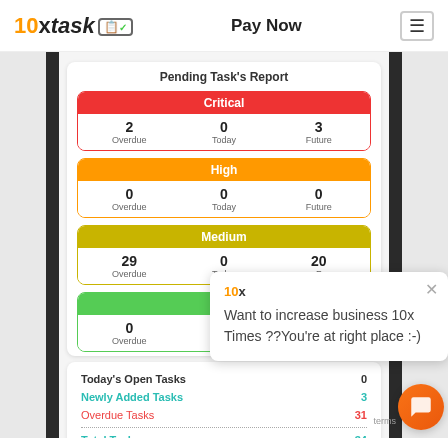[Figure (screenshot): 10xtask app logo with orange '10x' and italic 'task' text and clipboard icon with checkmark]
Pay Now
[Figure (screenshot): Hamburger menu icon in a bordered box]
Pending Task's Report
Critical
|  | Overdue | Today | Future |
| --- | --- | --- | --- |
| Critical | 2 | 0 | 3 |
| High | 0 | 0 | 0 |
| Medium | 29 | 0 | 20 |
| Low | 0 |  |  |
[Figure (screenshot): Popup overlay with 10x logo and text: Want to increase business 10x Times ??You're at right place :-)]
|  |  |
| --- | --- |
| Today's Open Tasks | 0 |
| Newly Added Tasks | 3 |
| Overdue Tasks | 31 |
| Total Tasks | 34 |